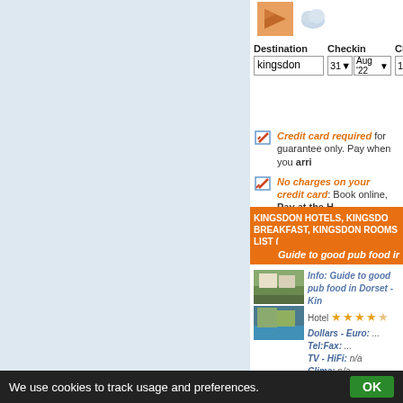[Figure (screenshot): Left blue-grey sidebar panel]
[Figure (screenshot): Orange icon and grey cloud icon in top area]
Destination: kingsdon | Checkin: 31 Aug '22 | Checkout: 1
Credit card required for guarantee only. Pay when you arrive
No charges on your credit card: Book online, Pay at the Hotel
KINGSDON HOTELS, KINGSDON MOTELS, KINGSDON BED AND BREAKFAST, KINGSDON ROOMS LIST
Guide to good pub food in...
Info: Guide to good pub food in Dorset - Kin...
Hotel ★★★★½
Dollars - Euro: ...
Tel:Fax: ...
TV - HiFi: n/a
Clima: n/a
Frigobar: n/a
We use cookies to track usage and preferences.